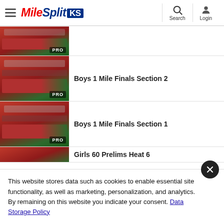[Figure (logo): MileSplit KS logo with hamburger menu, search and login icons in header]
[Figure (screenshot): Video thumbnail with PRO badge - indoor track race]
Boys 1 Mile Finals Section 2
[Figure (screenshot): Video thumbnail with PRO badge - indoor track race]
Boys 1 Mile Finals Section 1
[Figure (screenshot): Video thumbnail partial - indoor track race]
Girls 60 Prelims Heat 6
This website stores data such as cookies to enable essential site functionality, as well as marketing, personalization, and analytics. By remaining on this website you indicate your consent. Data Storage Policy